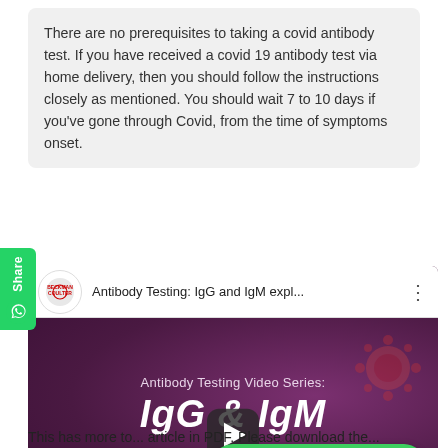There are no prerequisites to taking a covid antibody test. If you have received a covid 19 antibody test via home delivery, then you should follow the instructions closely as mentioned. You should wait 7 to 10 days if you've gone through Covid, from the time of symptoms onset.
[Figure (screenshot): YouTube video embed showing 'Antibody Testing: IgG and IgM expl...' by Beckman Coulter. Video thumbnail shows purple background with text 'Antibody Testing Video Series: IgG & IgM' and a play button. A 'Live Chat with Humans' WhatsApp button overlays the bottom right. A green Share sidebar with WhatsApp icon is on the left.]
This has more to... article in PDF. Please download the...